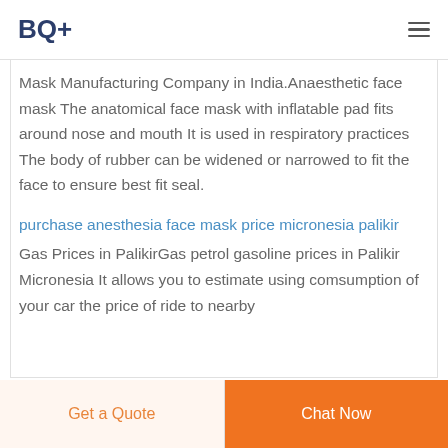BQ+
Mask Manufacturing Company in India.Anaesthetic face mask The anatomical face mask with inflatable pad fits around nose and mouth It is used in respiratory practices The body of rubber can be widened or narrowed to fit the face to ensure best fit seal.
purchase anesthesia face mask price micronesia palikir
Gas Prices in PalikirGas petrol gasoline prices in Palikir Micronesia It allows you to estimate using comsumption of your car the price of ride to nearby